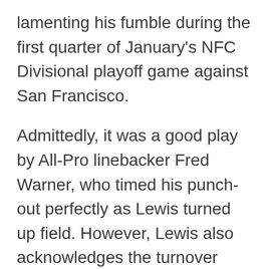lamenting his fumble during the first quarter of January's NFC Divisional playoff game against San Francisco.
Admittedly, it was a good play by All-Pro linebacker Fred Warner, who timed his punch-out perfectly as Lewis turned up field. However, Lewis also acknowledges the turnover occurred at a time when the offense was driving, and momentum was fully in the Packers' court.
Lewis can count on less than two hands how many plays he'd like back in his entire NFL career. That's certainly one of them.